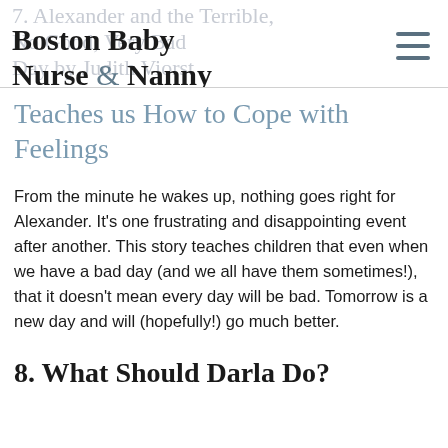Boston Baby Nurse & Nanny
Teaches us How to Cope with Feelings
From the minute he wakes up, nothing goes right for Alexander. It's one frustrating and disappointing event after another. This story teaches children that even when we have a bad day (and we all have them sometimes!), that it doesn't mean every day will be bad. Tomorrow is a new day and will (hopefully!) go much better.
8. What Should Darla Do?